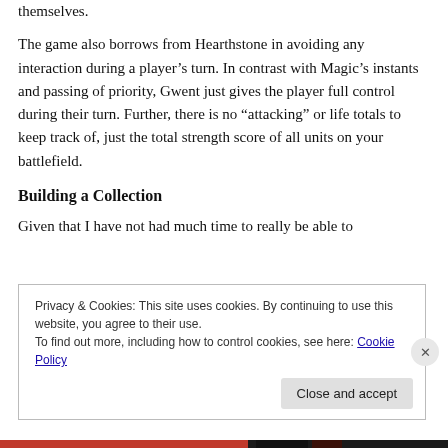themselves.
The game also borrows from Hearthstone in avoiding any interaction during a player's turn. In contrast with Magic's instants and passing of priority, Gwent just gives the player full control during their turn. Further, there is no “attacking” or life totals to keep track of, just the total strength score of all units on your battlefield.
Building a Collection
Given that I have not had much time to really be able to
Privacy & Cookies: This site uses cookies. By continuing to use this website, you agree to their use.
To find out more, including how to control cookies, see here: Cookie Policy
Close and accept